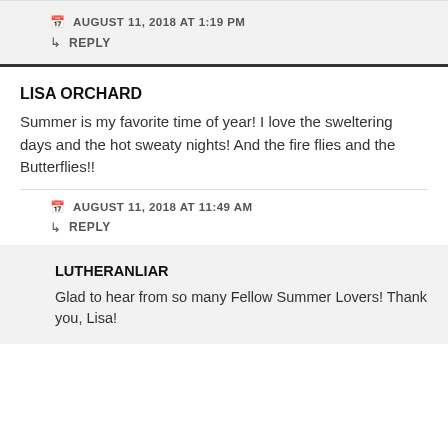AUGUST 11, 2018 AT 1:19 PM
↳ REPLY
LISA ORCHARD
Summer is my favorite time of year! I love the sweltering days and the hot sweaty nights! And the fire flies and the Butterflies!!
AUGUST 11, 2018 AT 11:49 AM
↳ REPLY
LUTHERANLIAR
Glad to hear from so many Fellow Summer Lovers! Thank you, Lisa!